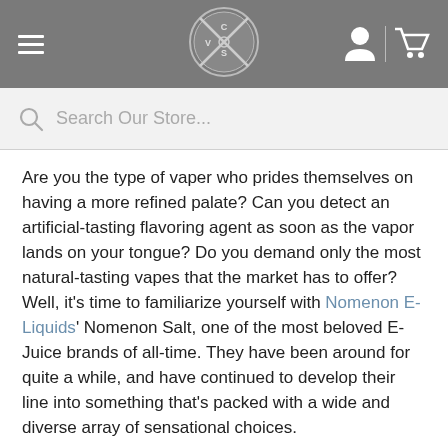Navigation bar with hamburger menu, logo, user icon, and cart icon
Search Our Store...
Are you the type of vaper who prides themselves on having a more refined palate? Can you detect an artificial-tasting flavoring agent as soon as the vapor lands on your tongue? Do you demand only the most natural-tasting vapes that the market has to offer? Well, it’s time to familiarize yourself with Nomenon E-Liquids’ Nomenon Salt, one of the most beloved E-Juice brands of all-time. They have been around for quite a while, and have continued to develop their line into something that’s packed with a wide and diverse array of sensational choices.
Nomenon Salt is best known for their original line, which takes our favorite fruits and turns them into succulent